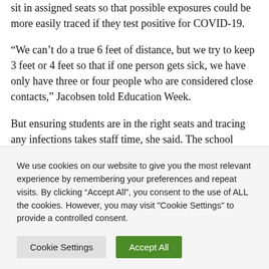sit in assigned seats so that possible exposures could be more easily traced if they test positive for COVID-19.
“We can’t do a true 6 feet of distance, but we try to keep 3 feet or 4 feet so that if one person gets sick, we have only have three or four people who are considered close contacts,” Jacobsen told Education Week.
But ensuring students are in the right seats and tracing any infections takes staff time, she said. The school moved from three to four lunch sessions this year to reduce
We use cookies on our website to give you the most relevant experience by remembering your preferences and repeat visits. By clicking “Accept All”, you consent to the use of ALL the cookies. However, you may visit "Cookie Settings" to provide a controlled consent.